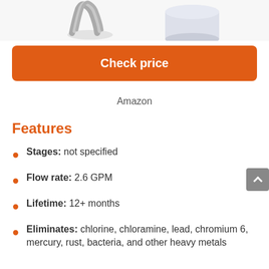[Figure (photo): Partial view of two product images (filter/coil on left, white cylindrical container on right) cropped at top of page]
Check price
Amazon
Features
Stages: not specified
Flow rate: 2.6 GPM
Lifetime: 12+ months
Eliminates: chlorine, chloramine, lead, chromium 6, mercury, rust, bacteria, and other heavy metals